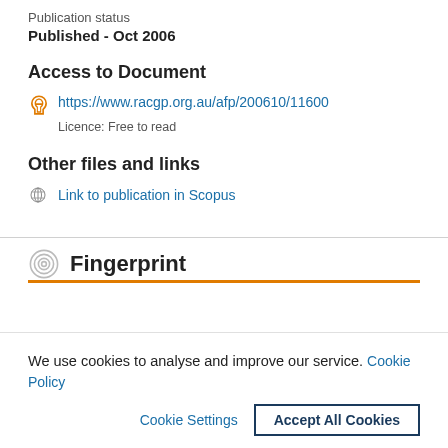Publication status
Published - Oct 2006
Access to Document
https://www.racgp.org.au/afp/200610/11600
Licence: Free to read
Other files and links
Link to publication in Scopus
Fingerprint
We use cookies to analyse and improve our service. Cookie Policy
Cookie Settings    Accept All Cookies